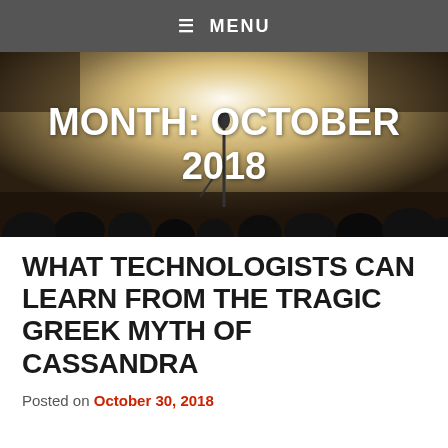≡ MENU
[Figure (photo): Concert stage background with spotlight and silhouettes of people, overlaid with text 'MONTH: OCTOBER 2018']
WHAT TECHNOLOGISTS CAN LEARN FROM THE TRAGIC GREEK MYTH OF CASSANDRA
Posted on October 30, 2018